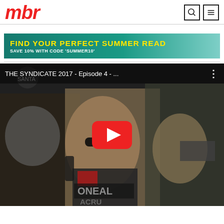mbr
[Figure (screenshot): Advertisement banner: FIND YOUR PERFECT SUMMER READ - SAVE 10% WITH CODE 'SUMMER10']
[Figure (screenshot): YouTube video embed: THE SYNDICATE 2017 - Episode 4 - ... showing a mountain biker being interviewed by media at an event, with YouTube play button overlay]